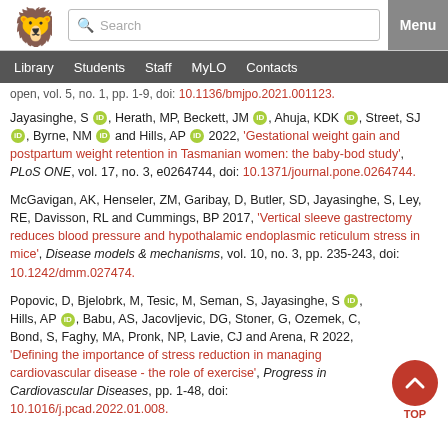University of Tasmania website header with logo, search bar, and Menu button
Navigation: Library | Students | Staff | MyLO | Contacts
open, vol. 5, no. 1, pp. 1-9, doi: 10.1136/bmjpo.2021.001123.
Jayasinghe, S [orcid], Herath, MP, Beckett, JM [orcid], Ahuja, KDK [orcid], Street, SJ [orcid], Byrne, NM [orcid] and Hills, AP [orcid] 2022, 'Gestational weight gain and postpartum weight retention in Tasmanian women: the baby-bod study', PLoS ONE, vol. 17, no. 3, e0264744, doi: 10.1371/journal.pone.0264744.
McGavigan, AK, Henseler, ZM, Garibay, D, Butler, SD, Jayasinghe, S, Ley, RE, Davisson, RL and Cummings, BP 2017, 'Vertical sleeve gastrectomy reduces blood pressure and hypothalamic endoplasmic reticulum stress in mice', Disease models & mechanisms, vol. 10, no. 3, pp. 235-243, doi: 10.1242/dmm.027474.
Popovic, D, Bjelobrk, M, Tesic, M, Seman, S, Jayasinghe, S [orcid], Hills, AP [orcid], Babu, AS, Jacovljevic, DG, Stoner, G, Ozemek, C, Bond, S, Faghy, MA, Pronk, NP, Lavie, CJ and Arena, R 2022, 'Defining the importance of stress reduction in managing cardiovascular disease - the role of exercise', Progress in Cardiovascular Diseases, pp. 1-48, doi: 10.1016/j.pcad.2022.01.008.